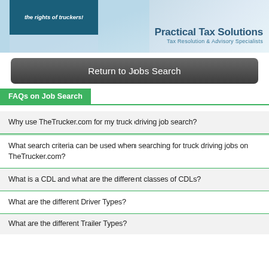[Figure (illustration): Banner advertisement for Practical Tax Solutions showing 'the rights of truckers!' text on dark blue background on left and 'Practical Tax Solutions Tax Resolution & Advisory Specialists' on right with tree graphic]
Return to Jobs Search
FAQs on Job Search
Why use TheTrucker.com for my truck driving job search?
What search criteria can be used when searching for truck driving jobs on TheTrucker.com?
What is a CDL and what are the different classes of CDLs?
What are the different Driver Types?
What are the different Trailer Types?